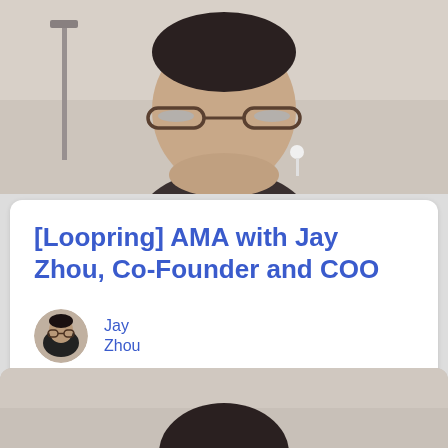[Figure (photo): Video thumbnail showing a man with glasses and short dark hair, wearing earbuds, against a light background]
[Loopring] AMA with Jay Zhou, Co-Founder and COO
[Figure (photo): Small circular avatar photo of Jay Zhou, a man wearing glasses and a dark top]
Jay Zhou
[Figure (logo): Crypto.com dark blue circular logo with a lion/shield icon]
Crypto.com
[Figure (photo): Bottom partial video thumbnail showing top of a person's head with dark hair]